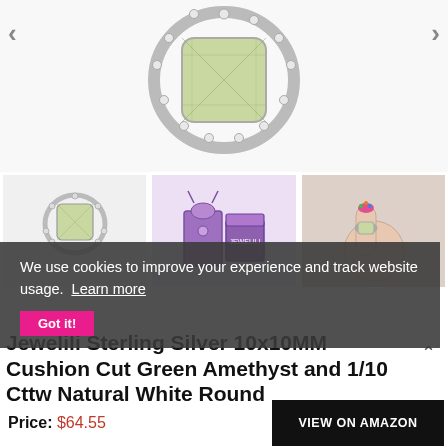[Figure (photo): Close-up of a sterling silver ring with a large cushion-cut green amethyst center stone surrounded by a halo of small round white diamonds.]
[Figure (photo): Three thumbnail images: left shows the ring on white background, center shows a purple gift box and bag with Jewelili branding, right shows the ring worn on a hand with colorful nail art.]
We use cookies to improve your experience and track website usage.  Learn more
Got it!
Jewelili Sterling Silver 10x10MM Cushion Cut Green Amethyst and 1/10 Cttw Natural White Round
Price: $64.55
VIEW ON AMAZON